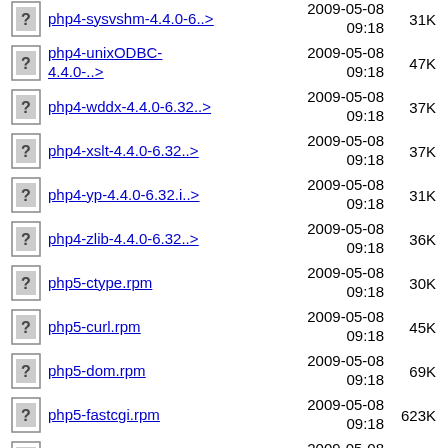php4-sysvshm-4.4.0-6..>  2009-05-08 09:18  31K
php4-unixODBC-4.4.0-..>  2009-05-08 09:18  47K
php4-wddx-4.4.0-6.32..>  2009-05-08 09:18  37K
php4-xslt-4.4.0-6.32..>  2009-05-08 09:18  37K
php4-yp-4.4.0-6.32.i..>  2009-05-08 09:18  31K
php4-zlib-4.4.0-6.32..>  2009-05-08 09:18  36K
php5-ctype.rpm  2009-05-08 09:18  30K
php5-curl.rpm  2009-05-08 09:18  45K
php5-dom.rpm  2009-05-08 09:18  69K
php5-fastcgi.rpm  2009-05-08 09:18  623K
php5-ftp.rpm  2009-05-08 09:18  42K
php5-gd.rpm  2009-05-08  112K